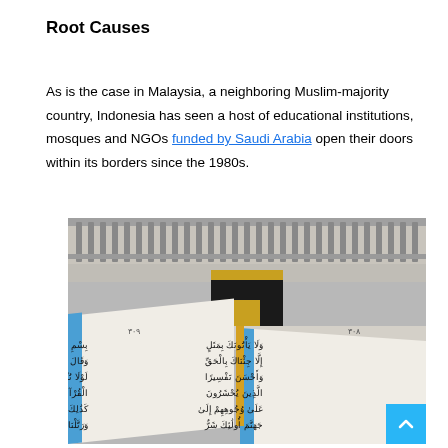Root Causes
As is the case in Malaysia, a neighboring Muslim-majority country, Indonesia has seen a host of educational institutions, mosques and NGOs funded by Saudi Arabia open their doors within its borders since the 1980s.
[Figure (photo): An open Quran with Arabic text, with the Kaaba in Mecca visible in the background. The book has a blue spine and gold bookmark ribbon, open to pages 308-309.]